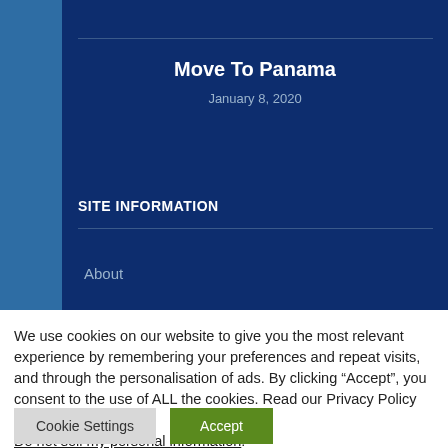Move To Panama
January 8, 2020
SITE INFORMATION
About
We use cookies on our website to give you the most relevant experience by remembering your preferences and repeat visits, and through the personalisation of ads. By clicking “Accept”, you consent to the use of ALL the cookies. Read our Privacy Policy here
Do not sell my personal information.